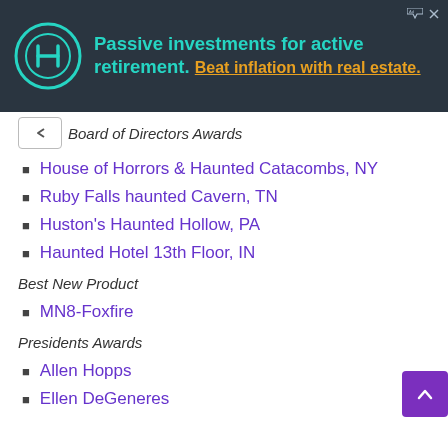[Figure (other): Advertisement banner with dark background showing 'Passive investments for active retirement. Beat inflation with real estate.' with a circular logo on the left.]
Board of Directors Awards
House of Horrors & Haunted Catacombs, NY
Ruby Falls haunted Cavern, TN
Huston's Haunted Hollow, PA
Haunted Hotel 13th Floor, IN
Best New Product
MN8-Foxfire
Presidents Awards
Allen Hopps
Ellen DeGeneres